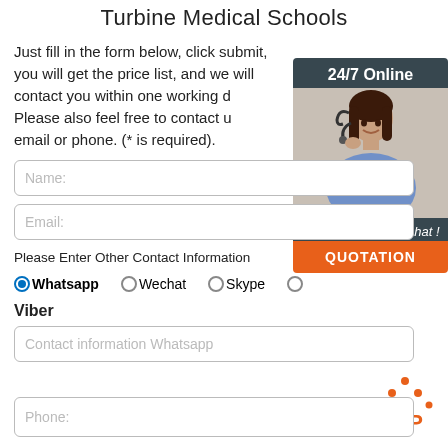Turbine Medical Schools
Just fill in the form below, click submit, you will get the price list, and we will contact you within one working day. Please also feel free to contact us via email or phone. (* is required).
[Figure (photo): Customer service representative with headset, 24/7 Online chat widget with QUOTATION button]
Name:
Email:
Please Enter Other Contact Information
Whatsapp  Wechat  Skype
Viber
Contact information Whatsapp
Phone: